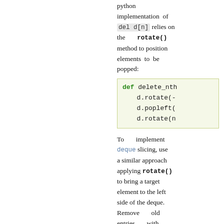python implementation of del d[n] relies on the rotate() method to position elements to be popped:
[Figure (screenshot): Code block showing def delete_nth with d.rotate(-, d.popleft(, d.rotate(n on green background]
To implement deque slicing, use a similar approach applying rotate() to bring a target element to the left side of the deque. Remove old entries with